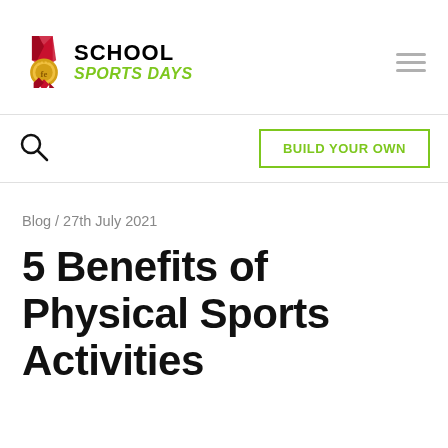[Figure (logo): School Sports Days logo with gold medal icon on the left and bold 'SCHOOL' text in black with 'SPORTS DAYS' in italic green below]
[Figure (other): Hamburger menu icon with three horizontal grey lines]
[Figure (other): Search magnifying glass icon]
BUILD YOUR OWN
Blog / 27th July 2021
5 Benefits of Physical Sports Activities